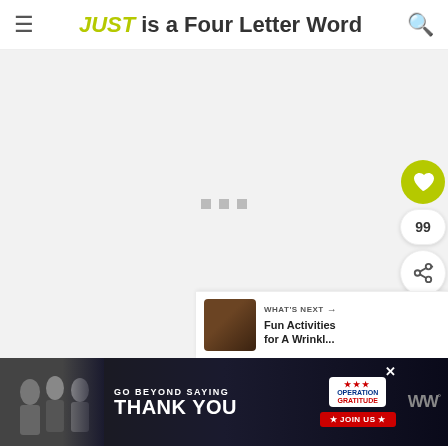≡  JUST is a Four Letter Word  🔍
[Figure (screenshot): Large light gray content area with three small gray loading dots centered]
[Figure (infographic): Sidebar with yellow-green heart button, like count 99, and share button]
[Figure (infographic): What's Next panel with thumbnail and text: Fun Activities for A Wrinkl...]
[Figure (infographic): Advertisement banner: GO BEYOND SAYING THANK YOU - OPERATION GRATITUDE JOIN US, with WW logo]